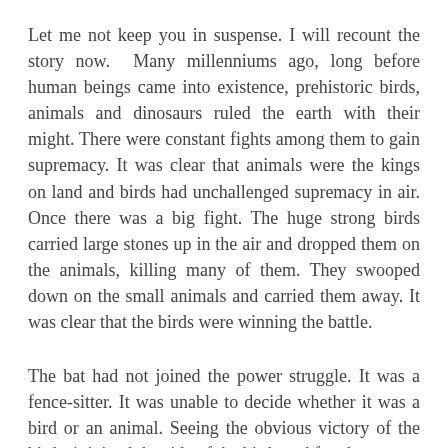Let me not keep you in suspense. I will recount the story now. Many millenniums ago, long before human beings came into existence, prehistoric birds, animals and dinosaurs ruled the earth with their might. There were constant fights among them to gain supremacy. It was clear that animals were the kings on land and birds had unchallenged supremacy in air. Once there was a big fight. The huge strong birds carried large stones up in the air and dropped them on the animals, killing many of them. They swooped down on the small animals and carried them away. It was clear that the birds were winning the battle.
The bat had not joined the power struggle. It was a fence-sitter. It was unable to decide whether it was a bird or an animal. Seeing the obvious victory of the birds, it joined the side of the birds and fought